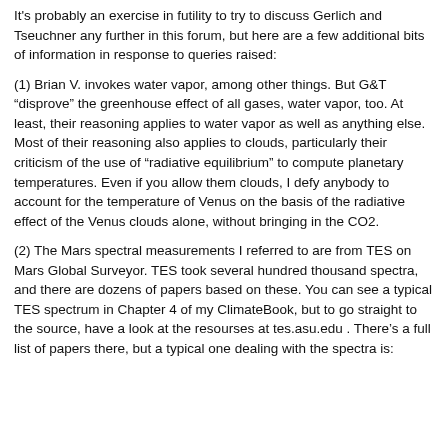It's probably an exercise in futility to try to discuss Gerlich and Tseuchner any further in this forum, but here are a few additional bits of information in response to queries raised:
(1) Brian V. invokes water vapor, among other things. But G&T “disprove” the greenhouse effect of all gases, water vapor, too. At least, their reasoning applies to water vapor as well as anything else. Most of their reasoning also applies to clouds, particularly their criticism of the use of “radiative equilibrium” to compute planetary temperatures. Even if you allow them clouds, I defy anybody to account for the temperature of Venus on the basis of the radiative effect of the Venus clouds alone, without bringing in the CO2.
(2) The Mars spectral measurements I referred to are from TES on Mars Global Surveyor. TES took several hundred thousand spectra, and there are dozens of papers based on these. You can see a typical TES spectrum in Chapter 4 of my ClimateBook, but to go straight to the source, have a look at the resourses at tes.asu.edu . There’s a full list of papers there, but a typical one dealing with the spectra is: